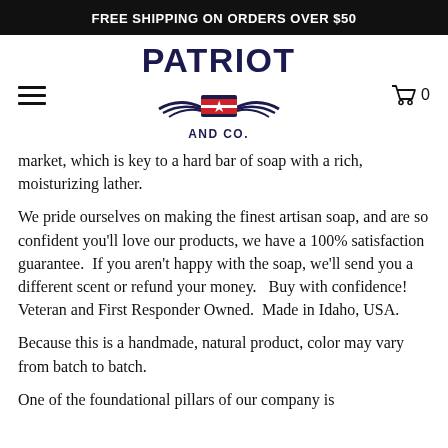FREE SHIPPING ON ORDERS OVER $50
[Figure (logo): Patriot And Co. logo with navy blue text, red and white stripes, and a star emblem with wings]
market, which is key to a hard bar of soap with a rich, moisturizing lather.
We pride ourselves on making the finest artisan soap, and are so confident you'll love our products, we have a 100% satisfaction guarantee.  If you aren't happy with the soap, we'll send you a different scent or refund your money.   Buy with confidence!  Veteran and First Responder Owned.  Made in Idaho, USA.
Because this is a handmade, natural product, color may vary from batch to batch.
One of the foundational pillars of our company is